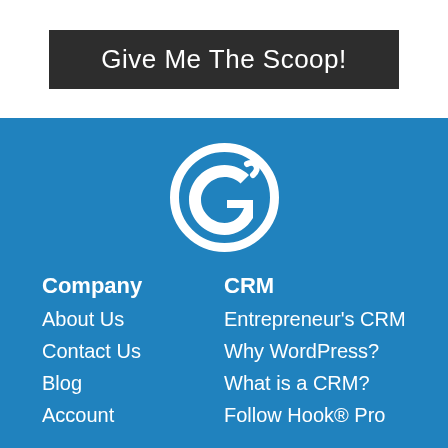Give Me The Scoop!
[Figure (logo): Circular logo with a stylized fishing hook letter G in white on blue background]
Company
About Us
Contact Us
Blog
Account
CRM
Entrepreneur's CRM
Why WordPress?
What is a CRM?
Follow Hook® Pro